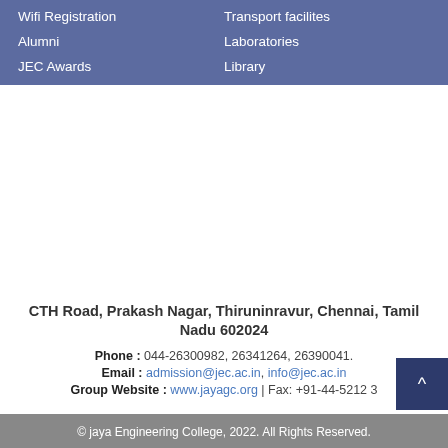Wifi Registration
Transport facilites
Alumni
Laboratories
JEC Awards
Library
CTH Road, Prakash Nagar, Thiruninravur, Chennai, Tamil Nadu 602024
Phone : 044-26300982, 26341264, 26390041.
Email : admission@jec.ac.in, info@jec.ac.in
Group Website : www.jayagc.org | Fax: +91-44-5212 3
© jaya Engineering College, 2022. All Rights Reserved.